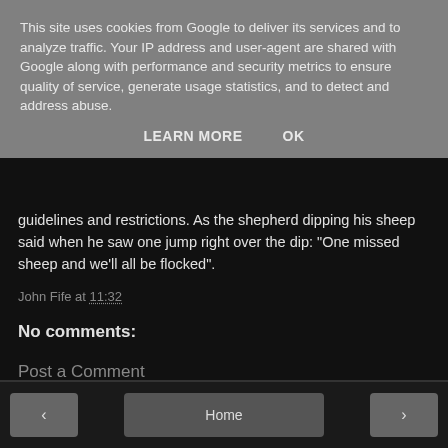This site uses cookies from Google to deliver its services and to analyze traffic. Your IP address and user-agent are shared with Google along with performance and security metrics to ensure quality of service, generate usage statistics, and to detect and address abuse.
LEARN MORE   OK
guidelines and restrictions. As the shepherd dipping his sheep said when he saw one jump right over the dip: "One missed sheep and we'll all be flocked".
John Fife at 11:32
No comments:
Post a Comment
< Home >